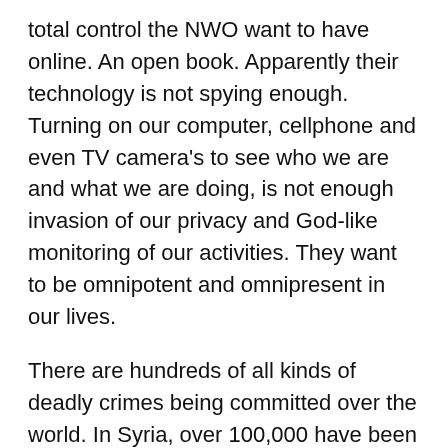total control the NWO want to have online. An open book. Apparently their technology is not spying enough. Turning on our computer, cellphone and even TV camera's to see who we are and what we are doing, is not enough invasion of our privacy and God-like monitoring of our activities. They want to be omnipotent and omnipresent in our lives.
There are hundreds of all kinds of deadly crimes being committed over the world. In Syria, over 100,000 have been killed by Globalists' games. But all these crimes are no care of the media and NWO. The rare cases of internet related suicides, which by the way, 'suicide' is a crime, and whoever kills themselves actually committed the crime; suicides are going to be broadcast wherever they occur most especially to what is referred to as minors as the globalists push forward on their agenda to de-glorify anonymous browsing.
However, it is not like a regular browser but it is the one...